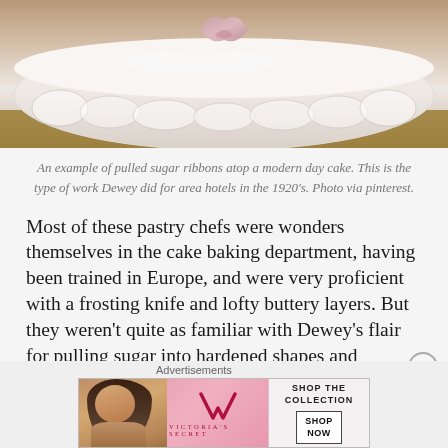[Figure (photo): Close-up photo of a white wedding or celebration cake with pulled sugar ribbons and ruffled decorations along the edge, photographed from above/side angle.]
An example of pulled sugar ribbons atop a modern day cake. This is the type of work Dewey did for area hotels in the 1920's. Photo via pinterest.
Most of these pastry chefs were wonders themselves in the cake baking department, having been trained in Europe, and were very proficient with a frosting knife and lofty buttery layers. But they weren't quite as familiar with Dewey's flair for pulling sugar into hardened shapes and intricate designs.
[Figure (screenshot): Victoria's Secret advertisement banner showing a model with curly hair, the VS logo, text 'SHOP THE COLLECTION', and a 'SHOP NOW' button on a pink background.]